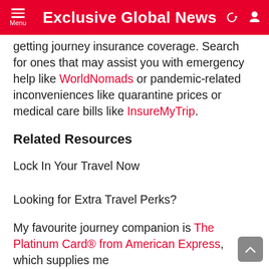Exclusive Global News
getting journey insurance coverage. Search for ones that may assist you with emergency help like WorldNomads or pandemic-related inconveniences like quarantine prices or medical care bills like InsureMyTrip.
Related Resources
Lock In Your Travel Now
Looking for Extra Travel Perks?
My favourite journey companion is The Platinum Card® from American Express, which supplies me